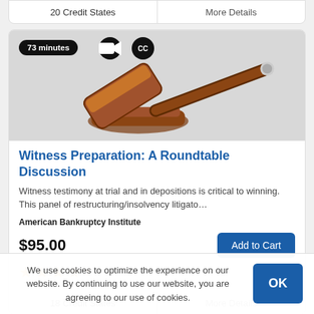20 Credit States
More Details
[Figure (photo): A judge's wooden gavel and sound block on a light gray background, with overlaid badges showing '73 minutes', a video camera icon, and a 'CC' (closed captions) icon.]
Witness Preparation: A Roundtable Discussion
Witness testimony at trial and in depositions is critical to winning. This panel of restructuring/insolvency litigato…
American Bankruptcy Institute
$95.00
Add to Cart
18 Credit States
More Details
We use cookies to optimize the experience on our website. By continuing to use our website, you are agreeing to our use of cookies.
OK